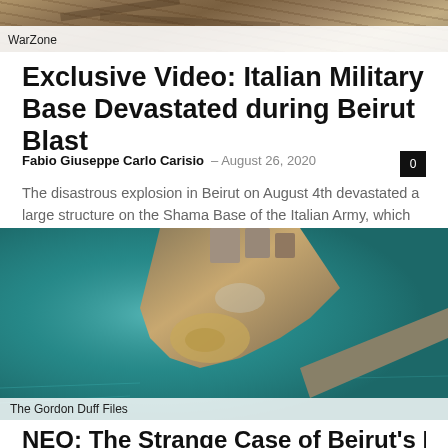[Figure (photo): Top image showing wooden structures or debris, partially visible, with a 'WarZone' label overlay at bottom left.]
Exclusive Video: Italian Military Base Devastated during Beirut Blast
Fabio Giuseppe Carlo Carisio – August 26, 2020   0
The disastrous explosion in Beirut on August 4th devastated a large structure on the Shama Base of the Italian Army, which are part of the UN peacekeepers in Lebanon.
[Figure (photo): Aerial satellite view of Beirut port showing devastation from the explosion, with teal water and destroyed structures visible. Labeled 'The Gordon Duff Files' at the bottom.]
NEO: The Strange Case of Beirut's Missing